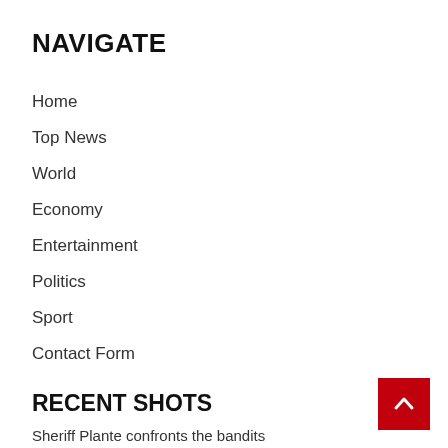NAVIGATE
Home
Top News
World
Economy
Entertainment
Politics
Sport
Contact Form
RECENT SHOTS
Sheriff Plante confronts the bandits
Post-Secondary Education | IRIS offers free thanks to